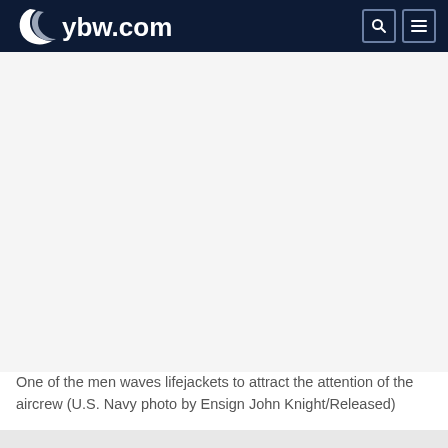ybw.com
[Figure (photo): Large photo area showing men waving lifejackets — image not rendered (blank white area)]
One of the men waves lifejackets to attract the attention of the aircrew (U.S. Navy photo by Ensign John Knight/Released)